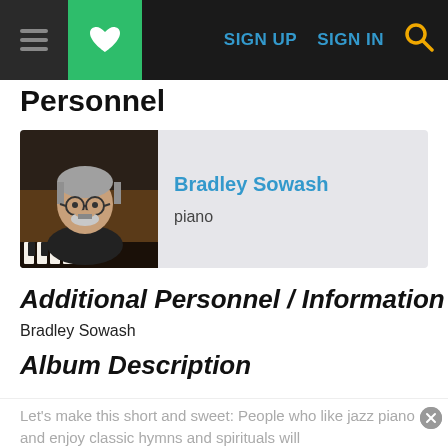Navigation bar with menu, favorites, SIGN UP, SIGN IN, and search
Personnel
[Figure (photo): Photo of Bradley Sowash, a man with gray hair, beard, and round glasses, seated near a piano]
Bradley Sowash
piano
Additional Personnel / Information
Bradley Sowash
Album Description
Let's make this short and sweet: People who like jazz piano and enjoy classic hymns and spirituals will